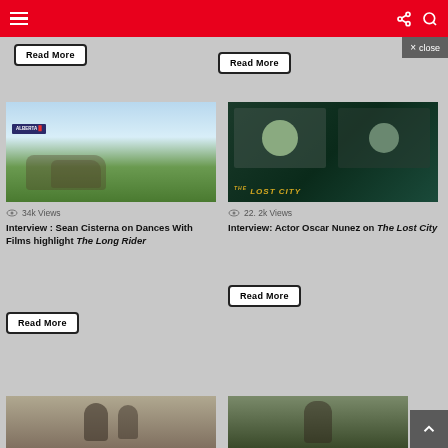Navigation bar with hamburger menu, share icon, search icon
Read More
Read More
× close
[Figure (photo): Person on horseback with additional horses, Alberta Welcome sign, open field with blue sky]
34k Views
Interview : Sean Cisterna on Dances With Films highlight The Long Rider
Read More
[Figure (photo): Two people on a video call interview, The Lost City title overlay on dark green background]
22. 2k Views
Interview: Actor Oscar Nunez on The Lost City
Read More
[Figure (photo): Two people outdoors, partially visible at bottom of page]
[Figure (photo): Person outdoors, partially visible at bottom of page]